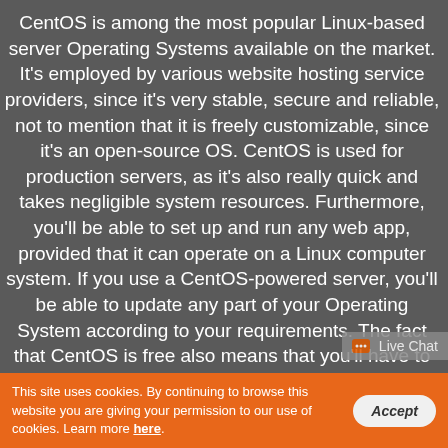CentOS is among the most popular Linux-based server Operating Systems available on the market. It's employed by various website hosting service providers, since it's very stable, secure and reliable, not to mention that it is freely customizable, since it's an open-source OS. CentOS is used for production servers, as it's also really quick and takes negligible system resources. Furthermore, you'll be able to set up and run any web app, provided that it can operate on a Linux computer system. If you use a CentOS-powered server, you'll be able to update any part of your Operating System according to your requirements. The fact that CentOS is free also means that you'll have to pay for your server, and not for any sort of license fees, that will minimize your overall expenses. A huge team of developers and users stands behind CentOS, so in case you ever encounter any kind of problems, or you're simply not sure how to perform a specific task, you'll
This site uses cookies. By continuing to browse this website you are giving your permission to our use of cookies. Learn more here.